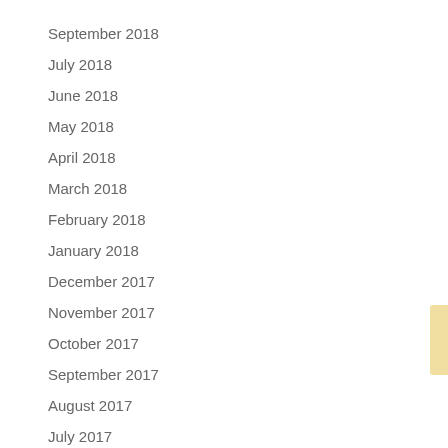September 2018
July 2018
June 2018
May 2018
April 2018
March 2018
February 2018
January 2018
December 2017
November 2017
October 2017
September 2017
August 2017
July 2017
June 2017